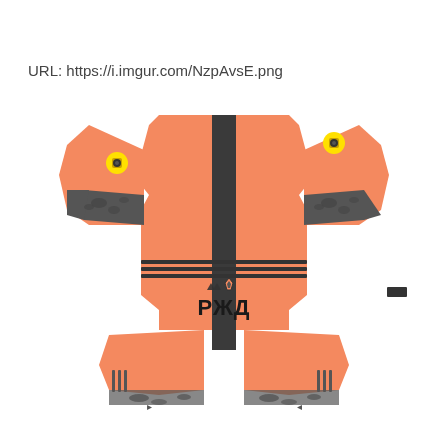URL: https://i.imgur.com/NzpAvsE.png
[Figure (illustration): Soccer/football kit template sprite sheet showing an orange goalkeeper jersey with black camouflage pattern sleeve bands, Adidas stripes, RZD/РЖД sponsor logo, and Lokomotiv Moscow badge. The flat lay kit template shows the front body center, left and right sleeves, and shorts panels arranged in a spread-out pattern on white background.]